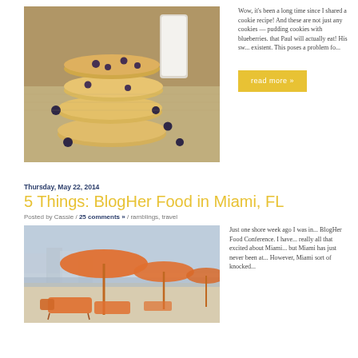[Figure (photo): Stack of blueberry pudding cookies on a burlap cloth with a glass of milk in the background and loose blueberries scattered around]
Wow, it's been a long time since I shared a cookie recipe! And these are not just any cookies — pudding cookies with blueberries... that Paul will actually eat! His sw... existent. This poses a problem fo...
read more »
Thursday, May 22, 2014
5 Things: BlogHer Food in Miami, FL
Posted by Cassie / 25 comments » / ramblings, travel
[Figure (photo): Beach scene in Miami with orange beach umbrellas and lounge chairs on sandy beach with city buildings in background]
Just one shore week ago I was in... BlogHer Food Conference. I have... really all that excited about Miami... but Miami has just never been at... However, Miami sort of knocked...